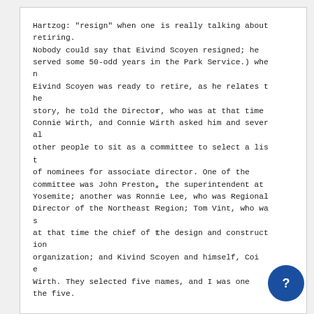Hartzog: "resign" when one is really talking about retiring.
Nobody could say that Eivind Scoyen resigned; he served some 50-odd years in the Park Service.) when Eivind Scoyen was ready to retire, as he relates the story, he told the Director, who was at that time Connie Wirth, and Connie Wirth asked him and several other people to sit as a committee to select a list of nominees for associate director. One of the committee was John Preston, the superintendent at Yosemite; another was Ronnie Lee, who was Regional Director of the Northeast Region; Tom Vint, who was at that time the chief of the design and construction organization; and Kivind Scoyen and himself, Connie Wirth. They selected five names, and I was one of the five.